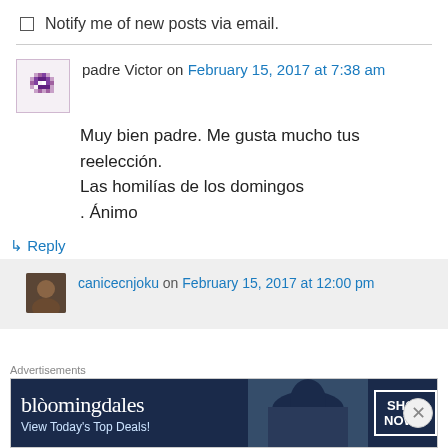Notify me of new posts via email.
padre Victor on February 15, 2017 at 7:38 am
Muy bien padre. Me gusta mucho tus reelección. Las homilías de los domingos . Ánimo
↳ Reply
canicecnjoku on February 15, 2017 at 12:00 pm
[Figure (infographic): Bloomingdale's advertisement banner: 'View Today's Top Deals! SHOP NOW >']